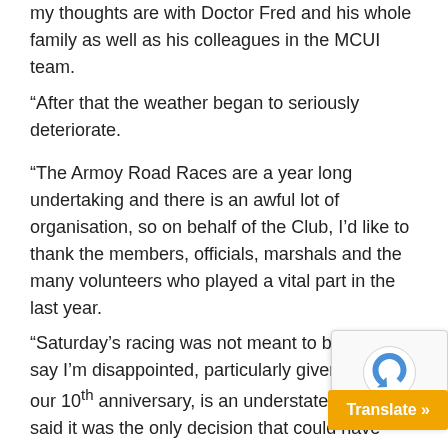my thoughts are with Doctor Fred and his whole family as well as his colleagues in the MCUI team.
“After that the weather began to seriously deteriorate.
“The Armoy Road Races are a year long undertaking and there is an awful lot of organisation, so on behalf of the Club, I’d like to thank the members, officials, marshals and the many volunteers who played a vital part in the last year.
“Saturday’s racing was not meant to be and to say I’m disappointed, particularly given it was our 10th anniversary, is an understatement. That said it was the only decision that could have been made on Saturday. Safety is paramount and my number one comes to road racing. It was a decision no